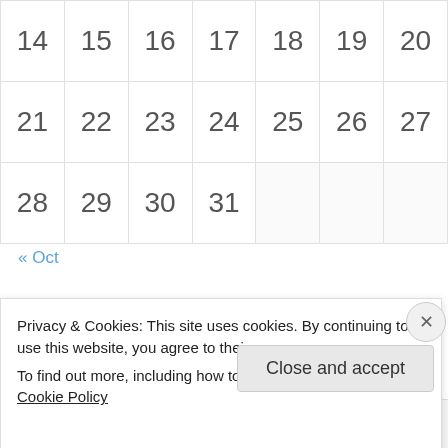|  |  |  |  |  |  |  |
| --- | --- | --- | --- | --- | --- | --- |
| 14 | 15 | 16 | 17 | 18 | 19 | 20 |
| 21 | 22 | 23 | 24 | 25 | 26 | 27 |
| 28 | 29 | 30 | 31 |  |  |  |
« Oct
Stalking Is Allowed :)
Privacy & Cookies: This site uses cookies. By continuing to use this website, you agree to their use.
To find out more, including how to control cookies, see here: Cookie Policy
Close and accept